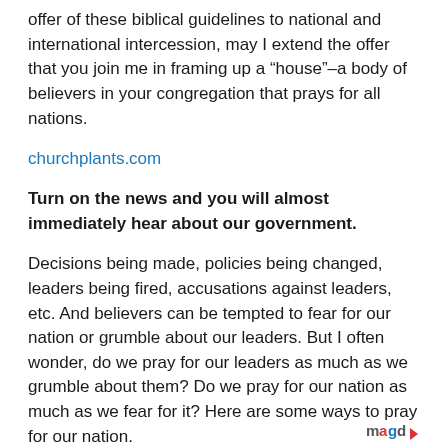offer of these biblical guidelines to national and international intercession, may I extend the offer that you join me in framing up a “house”–a body of believers in your congregation that prays for all nations.
churchplants.com
Turn on the news and you will almost immediately hear about our government.
Decisions being made, policies being changed, leaders being fired, accusations against leaders, etc. And believers can be tempted to fear for our nation or grumble about our leaders. But I often wonder, do we pray for our leaders as much as we grumble about them? Do we pray for our nation as much as we fear for it? Here are some ways to pray for our nation.
[Figure (logo): magd logo with colored letters and arrow]